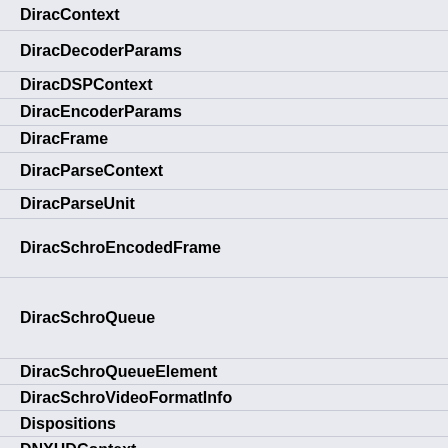DiracContext
DiracDecoderParams
DiracDSPContext
DiracEncoderParams
DiracFrame
DiracParseContext
DiracParseUnit
DiracSchroEncodedFrame
DiracSchroQueue
DiracSchroQueueElement
DiracSchroVideoFormatInfo
Dispositions
DNXHDContext
DNXHDEncContext
DPB
DPSMContext